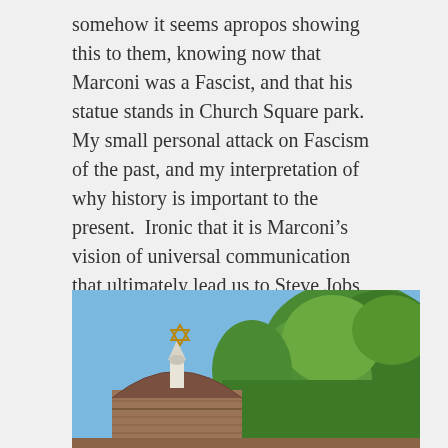somehow it seems apropos showing this to them, knowing now that Marconi was a Fascist, and that his statue stands in Church Square park. My small personal attack on Fascism of the past, and my interpretation of why history is important to the present.  Ironic that it is Marconi's vision of universal communication that ultimately lead us to Steve Jobs, and this computer that I am typing on. Yet he was a Fascist who wanted to own the airwaves.
[Figure (photo): Outdoor photo showing a domed brick building with a Star of David on top, a white ornamental finial/spire, and large green trees against a blue sky in the background.]